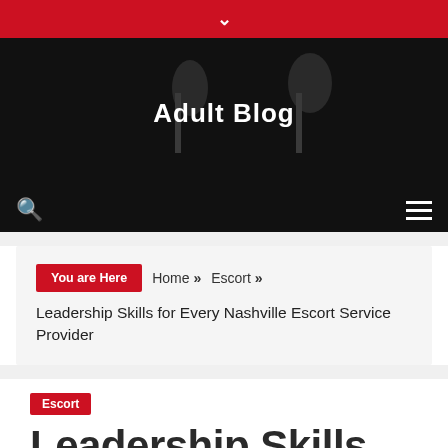Adult Blog
You are Here   Home »   Escort »   Leadership Skills for Every Nashville Escort Service Provider
Escort
Leadership Skills for